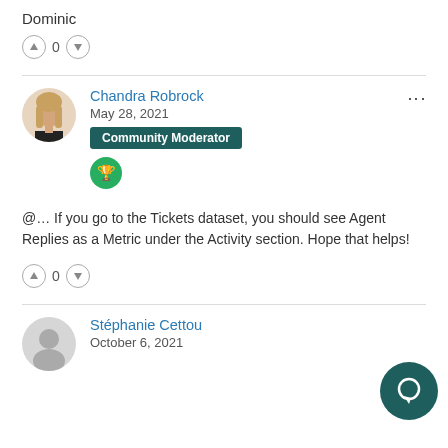Dominic
0
Chandra Robrock
May 28, 2021
Community Moderator
@... If you go to the Tickets dataset, you should see Agent Replies as a Metric under the Activity section. Hope that helps!
0
Stéphanie Cettou
October 6, 2021